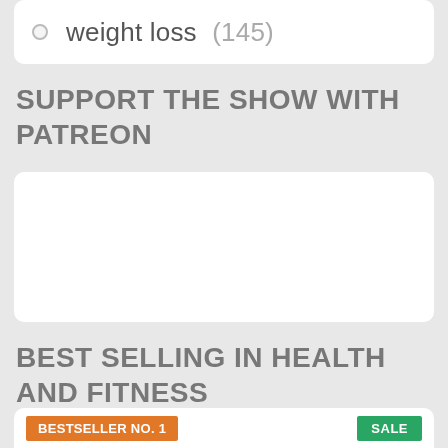weight loss (145)
SUPPORT THE SHOW WITH PATREON
[Figure (other): White card placeholder for Patreon support content]
BEST SELLING IN HEALTH AND FITNESS
[Figure (other): Product card with BESTSELLER NO. 1 orange badge and SALE green badge, partial view]